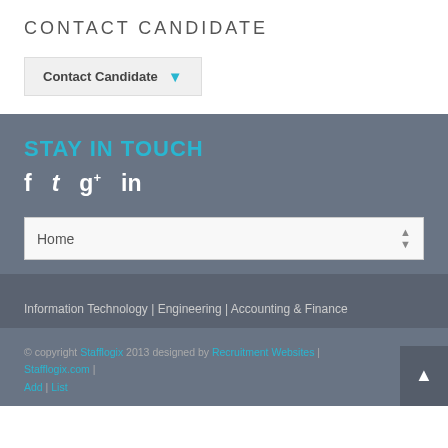CONTACT CANDIDATE
Contact Candidate ▾
STAY IN TOUCH
f  t  g+  in
Home
Information Technology | Engineering | Accounting & Finance
© copyright Stafflogix 2013 designed by Recruitment Websites | Stafflogix.com Add | List